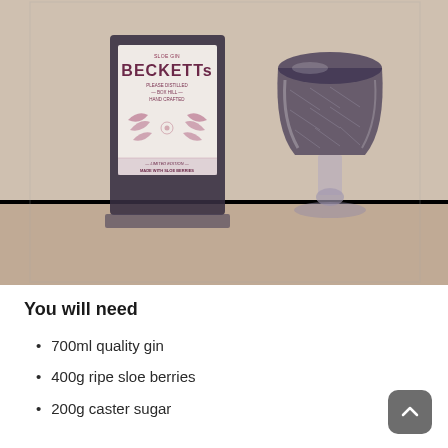[Figure (photo): Photo of a Becketts gin bottle (limited edition sloe gin) next to a crystal wine glass containing dark purple gin on a wooden surface against a beige wall]
You will need
700ml quality gin
400g ripe sloe berries
200g caster sugar